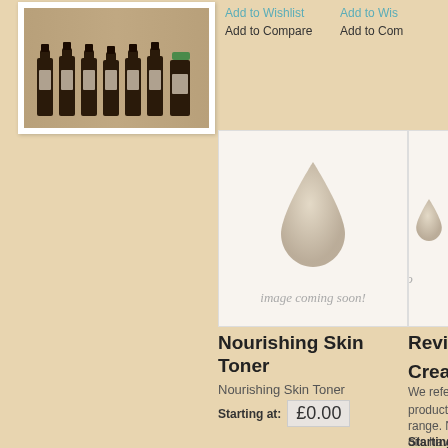[Figure (photo): Row of dark glass bottles with labels, product photo for aromatherapy/essential oil products]
Add to Wishlist
Add to Compare
Add to Wishlist
Add to Compare
[Figure (illustration): Placeholder image with a droplet icon and text 'image coming soon!']
Nourishing Skin Toner
Nourishing Skin Toner
Starting at:  £0.00
[Figure (illustration): Partial placeholder image with a droplet icon and text 'image co...' (cut off)]
Revitalis... Cream
We refer th... product' of range. Nero oils have be with cell reg supplemen Geranium t
Starting at: